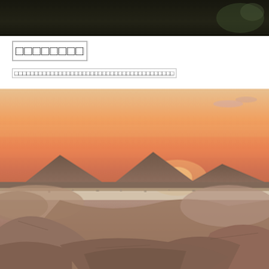[Figure (photo): Dark nature/forest photo cropped at top of page]
□□□□□□□□
□□□□□□□□□□□□□□□□□□□□□□□□□□□□□□□□□□□□□□□□
[Figure (photo): Landscape photo of Cappadocia-style rocky terrain with sunset/orange sky and mountain silhouette]